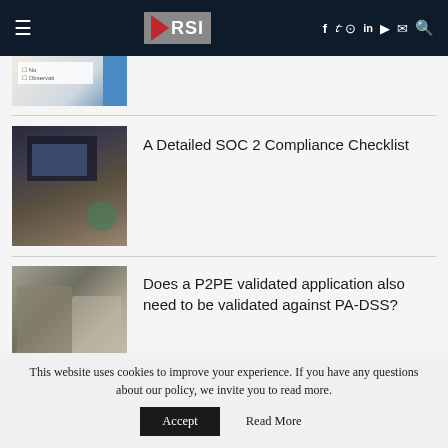[Figure (screenshot): RSI website header with dark navy background, hamburger menu, RSI logo, and social media icons (Facebook, Twitter, Instagram, LinkedIn, YouTube, Email, Search)]
[Figure (photo): Partial checklist document photo, cropped at top]
[Figure (photo): Person working at desktop computer with monitor]
A Detailed SOC 2 Compliance Checklist
[Figure (photo): Business people meeting around a table]
Does a P2PE validated application also need to be validated against PA-DSS?
This website uses cookies to improve your experience. If you have any questions about our policy, we invite you to read more.